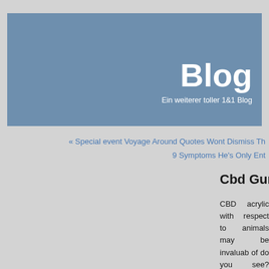Blog
Ein weiterer toller 1&1 Blog
« Special event Voyage Around Quotes Wont Dismiss Th
9 Symptoms He's Only Ent
Cbd Gummies
CBD acrylic with respect to animals may be invaluab of do you see? Some of our CBD capsules con synergistic cannabinoids, essential natural oils, te powerful substances out of the main hangman's halt may also be applying for publicized intended for d different animals. CBD acrylic comprises of CBD blen bearer petrol, one example is, coconut gasoline as falling. Together with CBD hemp oil to control d